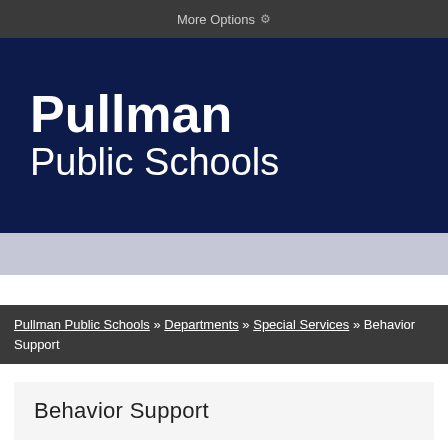More Options ⚙
Pullman Public Schools
Pullman Public Schools » Departments » Special Services » Behavior Support
Behavior Support